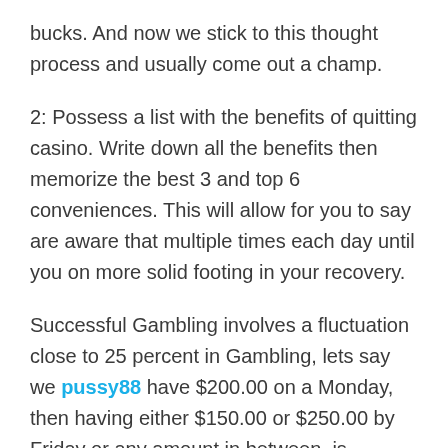bucks. And now we stick to this thought process and usually come out a champ.
2: Possess a list with the benefits of quitting casino. Write down all the benefits then memorize the best 3 and top 6 conveniences. This will allow for you to say are aware that multiple times each day until you on more solid footing in your recovery.
Successful Gambling involves a fluctuation close to 25 percent in Gambling, lets say we pussy88 have $200.00 on a Monday, then having either $150.00 or $250.00 by Friday or any amount in between, is thought of as successful Gambling online.